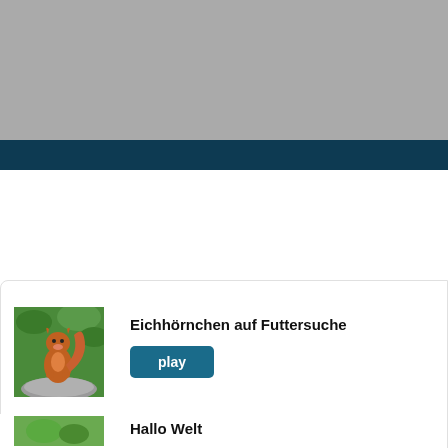[Figure (photo): Gray banner image placeholder at the top of the page]
[Figure (other): Dark navy blue navigation/menu bar]
[Figure (photo): Thumbnail image of a squirrel (Eichhörnchen) on a rock with green background]
Eichhörnchen auf Futtersuche
play
[Figure (photo): Thumbnail image partially visible at bottom, appears to show green plant/nature scene]
Hallo Welt